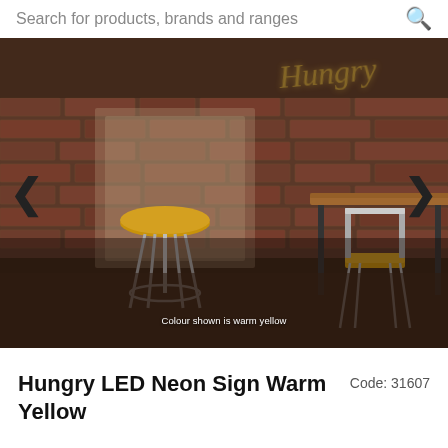Search for products, brands and ranges
[Figure (photo): Interior scene showing bar stools with yellow seats and a high table against a brick wall with a neon 'Hungry' sign. Caption reads: Colour shown is warm yellow]
Hungry LED Neon Sign Warm Yellow
Code: 31607